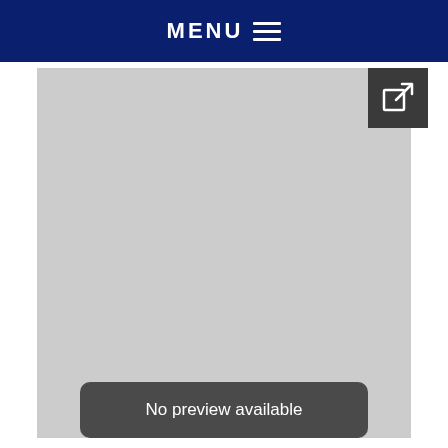MENU
[Figure (screenshot): Gray placeholder area with an external link icon button in the top-right corner]
No preview available